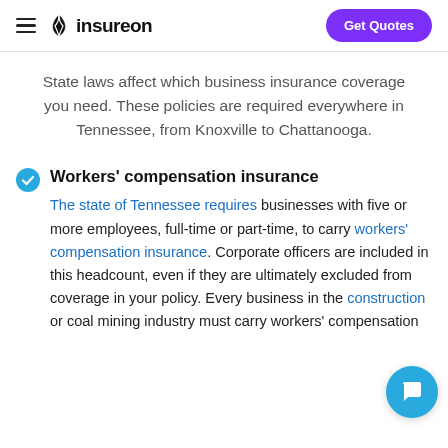insureon | Get Quotes
State laws affect which business insurance coverage you need. These policies are required everywhere in Tennessee, from Knoxville to Chattanooga.
Workers' compensation insurance
The state of Tennessee requires businesses with five or more employees, full-time or part-time, to carry workers' compensation insurance. Corporate officers are included in this headcount, even if they are ultimately excluded from coverage in your policy. Every business in the construction or coal mining industry must carry workers' compensation